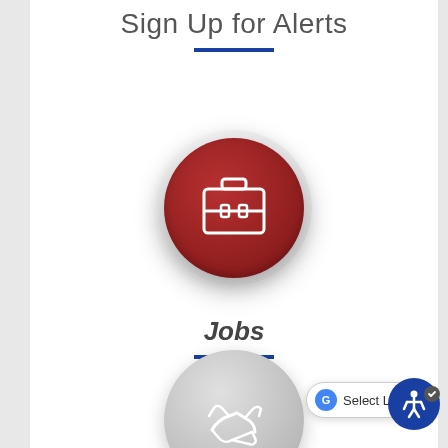Sign Up for Alerts
[Figure (illustration): Dark red circular button with a white briefcase/jobs icon, shown with a white outer ring and drop shadow]
Jobs
[Figure (illustration): Gray circular button with a white handshake/volunteer icon, partially visible at bottom of page]
[Figure (screenshot): Google Translate widget bar partially visible at bottom right, with accessibility icon overlay]